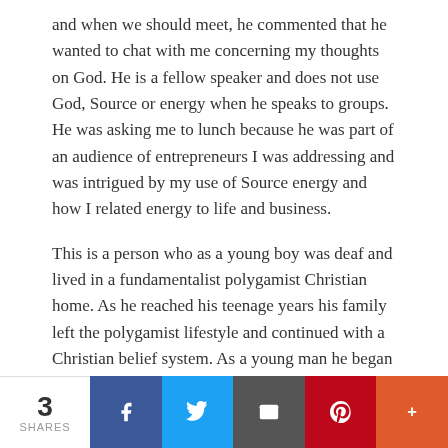and when we should meet, he commented that he wanted to chat with me concerning my thoughts on God. He is a fellow speaker and does not use God, Source or energy when he speaks to groups.  He was asking me to lunch because he was part of an audience of entrepreneurs I was addressing and was intrigued by my use of Source energy and how I related energy to life and business.
This is a person who as a young boy was deaf and lived in a fundamentalist polygamist Christian home.  As he reached his teenage years his family left the polygamist lifestyle and continued with a Christian belief system. As a young man he began to question his beliefs, as many often do who are born into a belief system of religion and conditioned to live a particular way.   He has spent much time studying and working on his own relationship with Source Energy, God or whatever someone may refer to it as.  He has since gone on
3 SHARES | Facebook | Twitter | Email | Pinterest | More